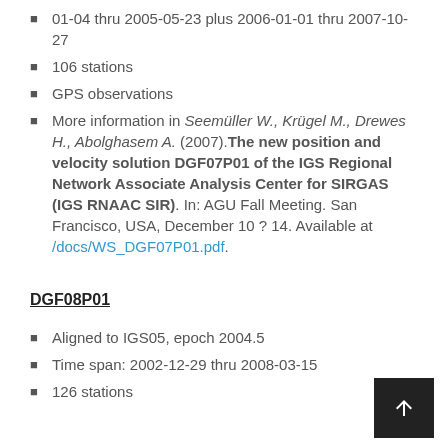01-04 thru 2005-05-23 plus 2006-01-01 thru 2007-10-27
106 stations
GPS observations
More information in Seemüller W., Krügel M., Drewes H., Abolghasem A. (2007).The new position and velocity solution DGF07P01 of the IGS Regional Network Associate Analysis Center for SIRGAS (IGS RNAAC SIR). In: AGU Fall Meeting. San Francisco, USA, December 10 ? 14. Available at /docs/WS_DGF07P01.pdf.
DGF08P01
Aligned to IGS05, epoch 2004.5
Time span: 2002-12-29 thru 2008-03-15
126 stations